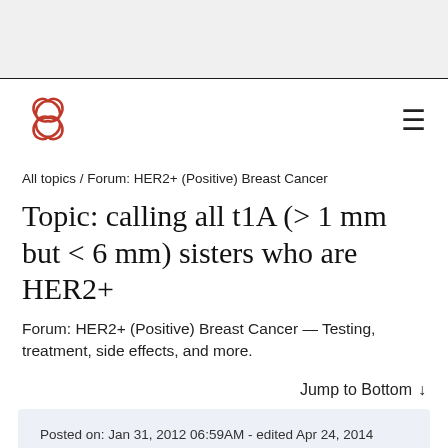[Figure (logo): Cancer forum logo — red circular flower/ribbon shaped icon]
All topics / Forum: HER2+ (Positive) Breast Cancer
Topic: calling all t1A (> 1 mm but < 6 mm) sisters who are HER2+
Forum: HER2+ (Positive) Breast Cancer — Testing, treatment, side effects, and more.
Jump to Bottom ↓
Posted on: Jan 31, 2012 06:59AM - edited Apr 24, 2014